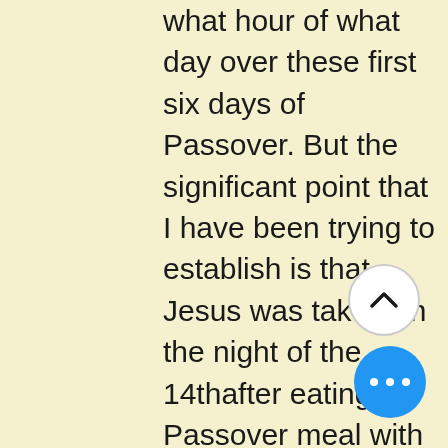what hour of what day over these first six days of Passover.  But the significant point that I have been trying to establish is that Jesus was taken on the night of the 14th after eating the Passover meal with His disciples, He was crucified on Thursday afternoon, which was the 6th day of Passover, and He was put in the tomb on Thursday night after sundown when the 20th day had come to close.  We know it was the sixth day because it was the preparation day for the holy convocation feast on the 7th day Passover.  All of the events regarding the capture, mock trial, and crucifixion of Jesus took place in